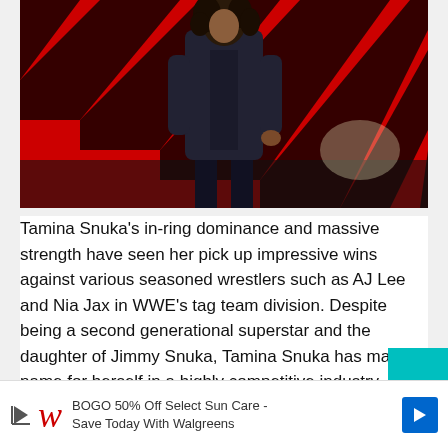[Figure (photo): Tamina Snuka in black leather jacket and dark outfit standing in front of a red and black zebra-striped background on what appears to be a WWE arena stage]
Tamina Snuka's in-ring dominance and massive strength have seen her pick up impressive wins against various seasoned wrestlers such as AJ Lee and Nia Jax in WWE's tag team division. Despite being a second generational superstar and the daughter of Jimmy Snuka, Tamina Snuka has made a name for herself in a highly competitive industry.
[Figure (other): Walgreens advertisement: BOGO 50% Off Select Sun Care - Save Today With Walgreens]